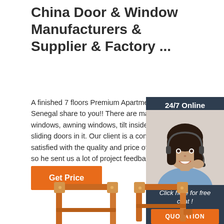China Door & Window Manufacturers & Supplier & Factory ...
A finished 7 floors Premium Apartment project in Senegal share to you!! There are many sliding windows, awning windows, tilt inside windows, sliding doors in it. Our client is a contractor who satisfied with the quality and price of our products, so he sent us a lot of project feedback pictu
[Figure (other): 24/7 Online chat widget with a female customer service representative wearing a headset. Includes 'Click here for free chat!' text and an orange QUOTATION button.]
Get Price
[Figure (photo): Orange/copper colored door or window frame hardware product shown at bottom of page, partially visible.]